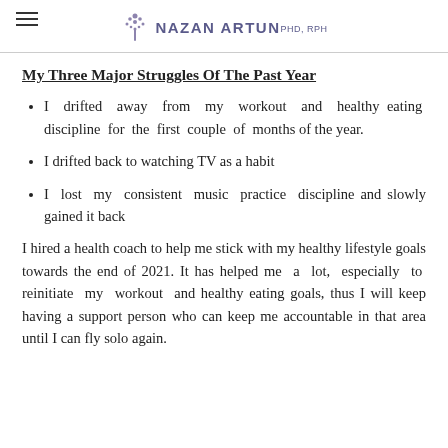NAZAN ARTUN PHD, RPH
My Three Major Struggles Of The Past Year
I drifted away from my workout and healthy eating discipline for the first couple of months of the year.
I drifted back to watching TV as a habit
I lost my consistent music practice discipline and slowly gained it back
I hired a health coach to help me stick with my healthy lifestyle goals towards the end of 2021. It has helped me a lot, especially to reinitiate my workout and healthy eating goals, thus I will keep having a support person who can keep me accountable in that area until I can fly solo again.
(partial text cut off at bottom)